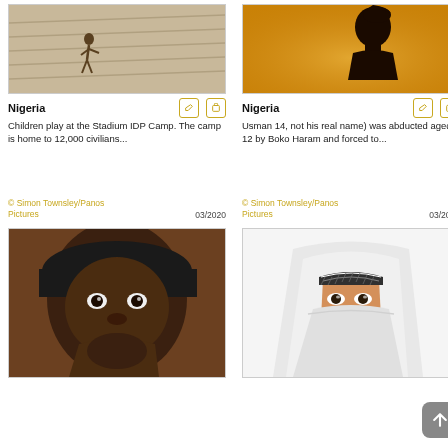[Figure (photo): Child running on stadium steps, monochrome/sepia tone]
Nigeria
Children play at the Stadium IDP Camp. The camp is home to 12,000 civilians...
© Simon Townsley/Panos Pictures   03/2020
[Figure (photo): Silhouette of a woman against amber/golden background]
Nigeria
Usman 14, not his real name) was abducted aged 12 by Boko Haram and forced to...
© Simon Townsley/Panos Pictures   03/2020
[Figure (photo): Close-up portrait of a young man wearing a dark cap, looking intently at the camera]
[Figure (photo): Woman wrapped in white hijab/veil, only eyes visible, patterned headband visible]